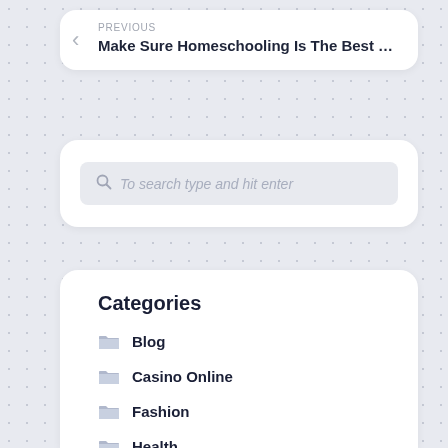PREVIOUS
Make Sure Homeschooling Is The Best …
To search type and hit enter
Categories
Blog
Casino Online
Fashion
Health
joker123